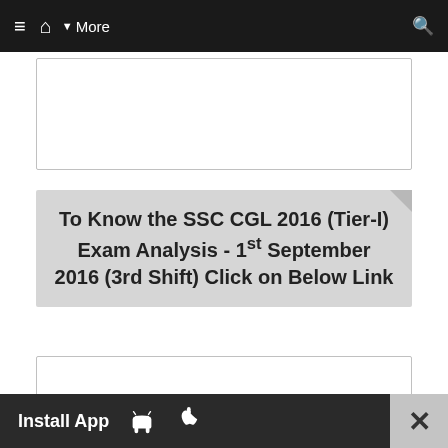≡ ⌂ ▼ More 🔍
[Figure (other): Advertisement placeholder box (white rectangle with border)]
To Know the SSC CGL 2016 (Tier-I) Exam Analysis - 1st September 2016 (3rd Shift) Click on Below Link
[Figure (other): Advertisement placeholder box (white rectangle with border)]
To Know the GK Questions Asked in SSC CGL 2016 (Tier-I) - 01.09.2016 (2nd Shift) Click on Below Link
Install App [Android icon] [Apple icon] ×